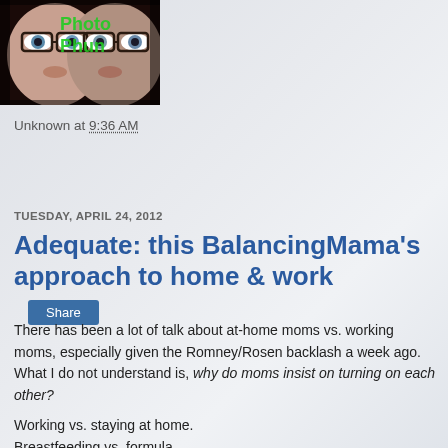[Figure (photo): Close-up photo of two people with glasses, styled with green text overlay reading 'Photo Phun']
Unknown at 9:36 AM
Share
TUESDAY, APRIL 24, 2012
Adequate: this BalancingMama's approach to home & work
There has been a lot of talk about at-home moms vs. working moms, especially given the Romney/Rosen backlash a week ago. What I do not understand is, why do moms insist on turning on each other?
Working vs. staying at home.
Breastfeeding vs. formula.